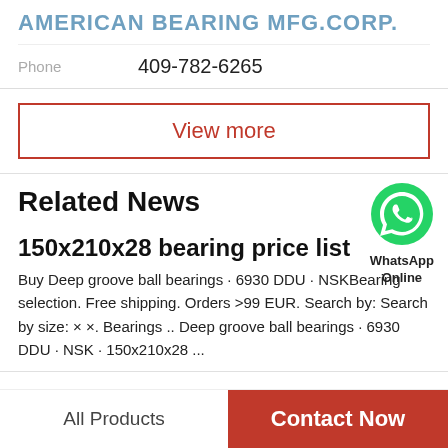AMERICAN BEARING MFG.CORP.
Phone   409-782-6265
View more
Related News
[Figure (logo): WhatsApp green phone icon with label 'WhatsApp Online']
150x210x28 bearing price list
Buy Deep groove ball bearings · 6930 DDU · NSKBearing selection. Free shipping. Orders >99 EUR. Search by: Search by size: × ×. Bearings .. Deep groove ball bearings · 6930 DDU · NSK · 150x210x28 ...
All Products   Contact Now